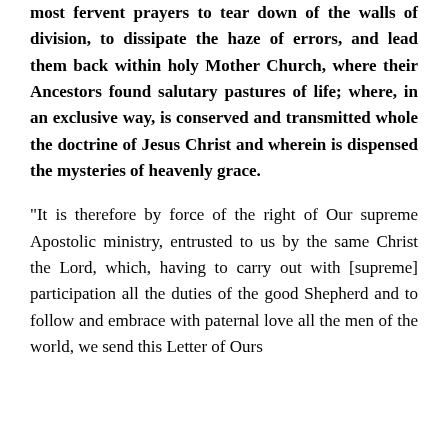most fervent prayers to tear down of the walls of division, to dissipate the haze of errors, and lead them back within holy Mother Church, where their Ancestors found salutary pastures of life; where, in an exclusive way, is conserved and transmitted whole the doctrine of Jesus Christ and wherein is dispensed the mysteries of heavenly grace.
"It is therefore by force of the right of Our supreme Apostolic ministry, entrusted to us by the same Christ the Lord, which, having to carry out with [supreme] participation all the duties of the good Shepherd and to follow and embrace with paternal love all the men of the world, we send this Letter of Ours...